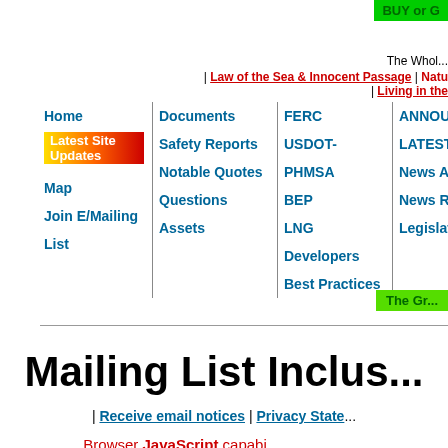BUY or G...
The Whol... | Law of the Sea & Innocent Passage | Natu... | Living in the...
[Figure (screenshot): Website navigation bar with columns: Home, Latest Site Updates, Map, Join E/Mailing List | Documents, Safety Reports, Notable Quotes, Questions, Assets | FERC, USDOT-PHMSA, BEP, LNG Developers, Best Practices | ANNOU..., LATEST..., News A..., News R..., Legislat...]
Mailing List Inclus...
| Receive email notices | Privacy State...
Browser JavaScript capabi...
Receive email notices of...
Website updates, Announcements, and News Releases...
This mailing list is for Save Passamaquoddy Bay supporte...